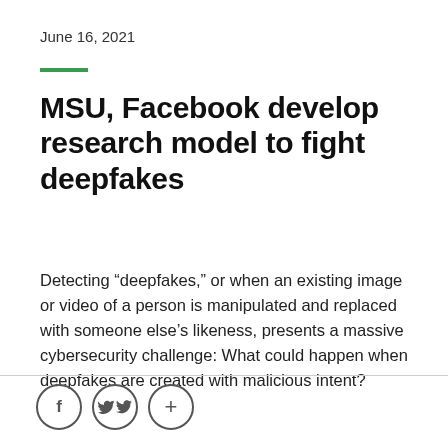June 16, 2021
MSU, Facebook develop research model to fight deepfakes
Detecting “deepfakes,” or when an existing image or video of a person is manipulated and replaced with someone else’s likeness, presents a massive cybersecurity challenge: What could happen when deepfakes are created with malicious intent?